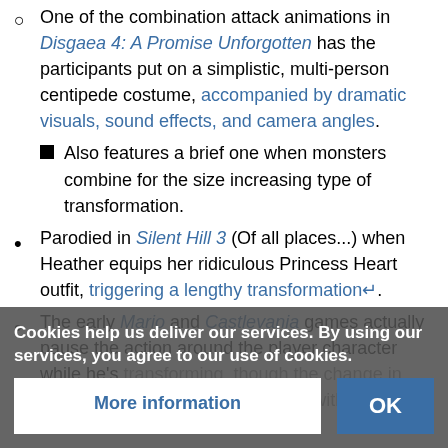One of the combination attack animations in Disgaea 4: A Promise Unforgotten has the participants put on a simplistic, multi-person centipede costume, accompanied by dramatic visuals, sound effects, and camera angles. Also features a brief one when monsters combine for the size increasing type of transformation.
Parodied in Silent Hill 3 (Of all places...) when Heather equips her ridiculous Princess Heart outfit, triggering a lengthy transformation.
The early Mario and Castlevania games actually pause the action around the player character while he's transforming, though the change in form was fairly instantaneous and without frills otherwise.
The SRX fro... mpressive
Cookies help us deliver our services. By using our services, you agree to our use of cookies.